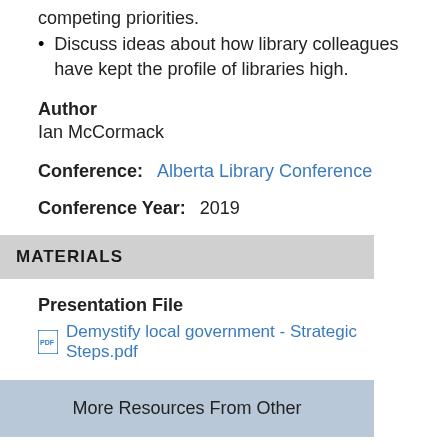Discuss ideas about how library colleagues have kept the profile of libraries high.
Author
Ian McCormack
Conference: Alberta Library Conference
Conference Year: 2019
MATERIALS
Presentation File
Demystify local government - Strategic Steps.pdf
More Resources From Other
Presentation Topic
Board Governance   Library Governance